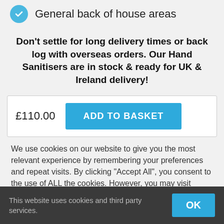General back of house areas
Don't settle for long delivery times or back log with overseas orders. Our Hand Sanitisers are in stock & ready for UK & Ireland delivery!
£110.00  ADD TO BASKET
We use cookies on our website to give you the most relevant experience by remembering your preferences and repeat visits. By clicking "Accept All", you consent to the use of ALL the cookies. However, you may visit "Cookie Settings" to provide a controlled consent.
This website uses cookies and third party services.  OK